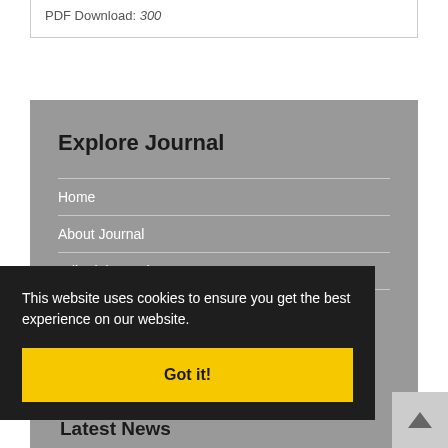PDF Download: 300
Explore Journal
Home
About Journal
Editorial Board
Submit Manuscript
This website uses cookies to ensure you get the best experience on our website.
Got it!
Latest News